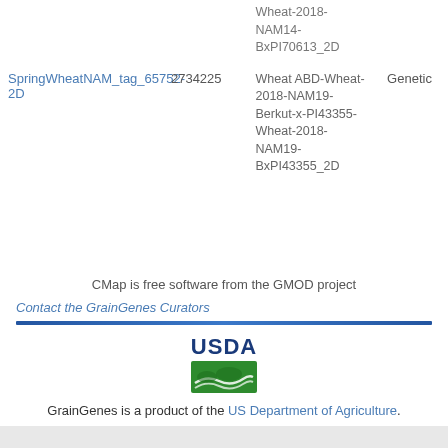| Name | ID | Maps | Type |
| --- | --- | --- | --- |
| SpringWheatNAM_tag_65752-2D | 2734225 | Wheat ABD-Wheat-2018-NAM14-BxPI70613_2D
Wheat ABD-Wheat-2018-NAM19-Berkut-x-PI43355-Wheat-2018-NAM19-BxPI43355_2D | Genetic |
CMap is free software from the GMOD project
Contact the GrainGenes Curators
[Figure (logo): USDA logo with green banner]
GrainGenes is a product of the US Department of Agriculture.